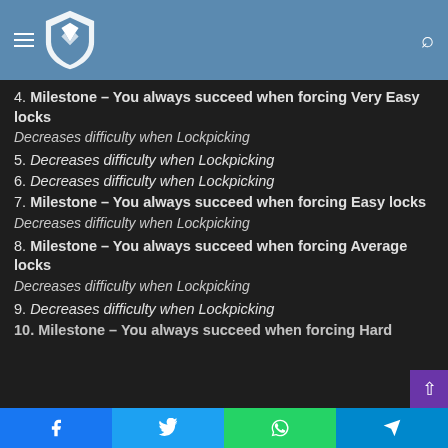Navigation header with logo and search
4. Milestone – You always succeed when forcing Very Easy locks
Decreases difficulty when Lockpicking
5. Decreases difficulty when Lockpicking
6. Decreases difficulty when Lockpicking
7. Milestone – You always succeed when forcing Easy locks
Decreases difficulty when Lockpicking
8. Milestone – You always succeed when forcing Average locks
Decreases difficulty when Lockpicking
9. Decreases difficulty when Lockpicking
10. Milestone – You always succeed when forcing Hard locks (cut off)
Social share buttons: Facebook, Twitter, WhatsApp, Telegram